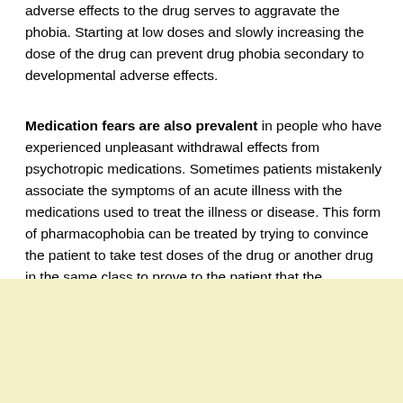adverse effects to the drug serves to aggravate the phobia. Starting at low doses and slowly increasing the dose of the drug can prevent drug phobia secondary to developmental adverse effects.
Medication fears are also prevalent in people who have experienced unpleasant withdrawal effects from psychotropic medications. Sometimes patients mistakenly associate the symptoms of an acute illness with the medications used to treat the illness or disease. This form of pharmacophobia can be treated by trying to convince the patient to take test doses of the drug or another drug in the same class to prove to the patient that the symptoms were not due to the drug, but rather to the disease that the drug was taken. To treat.
[Figure (other): Light yellow/cream colored background box occupying the bottom portion of the page]